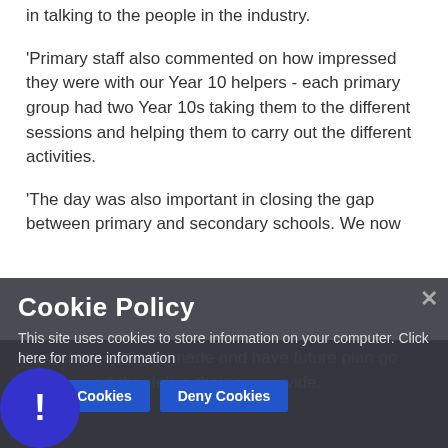in talking to the people in the industry.
'Primary staff also commented on how impressed they were with our Year 10 helpers - each primary group had two Year 10s taking them to the different sessions and helping them to carry out the different activities.
'The day was also important in closing the gap between primary and secondary schools. We now have new contacts made and have future plan go into... ort the delive their cu... vide.
Cookie Policy
This site uses cookies to store information on your computer. Click here for more information
Allow Cookies   Deny Cookies